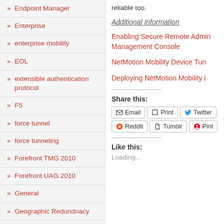» Endpoint Manager
» Enterprise
» enterprise mobility
» EOL
» extensible authentication protocol
» F5
» force tunnel
» force tunneling
» Forefront TMG 2010
» Forefront UAG 2010
» General
» Geographic Redundnacy
reliable too.
Additional Information
Enabling Secure Remote Admin Management Console
NetMotion Mobility Device Tun
Deploying NetMotion Mobility i
Share this:
Email  Print  Twitter  Reddit  Tumblr  Pint
Like this:
Loading...